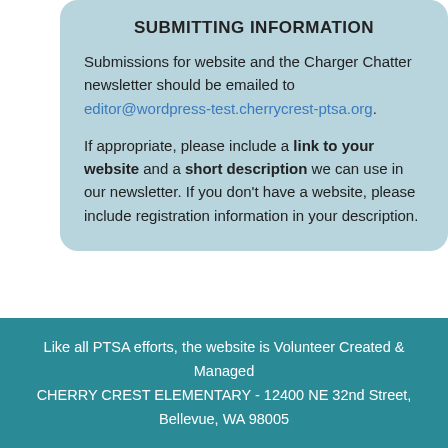SUBMITTING INFORMATION
Submissions for website and the Charger Chatter newsletter should be emailed to editor@wordpress-test.cherrycrest-ptsa.org.
If appropriate, please include a link to your website and a short description we can use in our newsletter. If you don't have a website, please include registration information in your description.
Like all PTSA efforts, the website is Volunteer Created & Managed
CHERRY CREST ELEMENTARY - 12400 NE 32nd Street, Bellevue, WA 98005